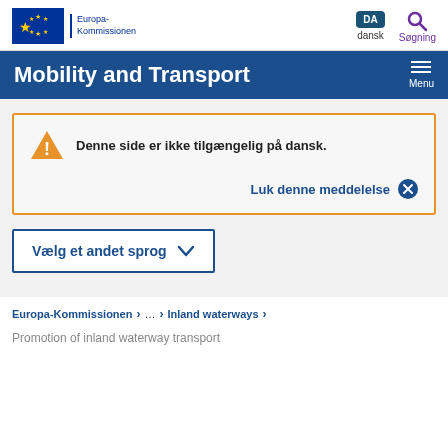Europa-Kommissionen | DA dansk | Søgning
Mobility and Transport
Denne side er ikke tilgængelig på dansk.
Luk denne meddelelse ✕
Vælg et andet sprog ∨
Europa-Kommissionen > ... > Inland waterways >
Promotion of inland waterway transport